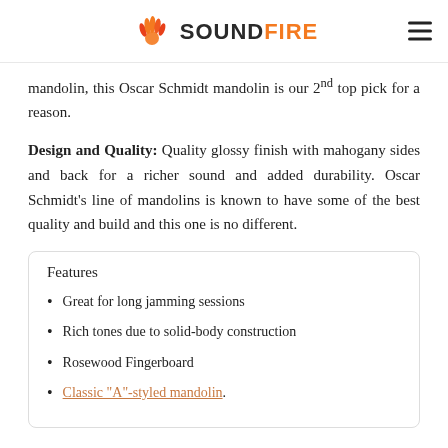SOUNDFIRE
mandolin, this Oscar Schmidt mandolin is our 2nd top pick for a reason.
Design and Quality: Quality glossy finish with mahogany sides and back for a richer sound and added durability. Oscar Schmidt's line of mandolins is known to have some of the best quality and build and this one is no different.
Features
Great for long jamming sessions
Rich tones due to solid-body construction
Rosewood Fingerboard
Classic "A"-styled mandolin.